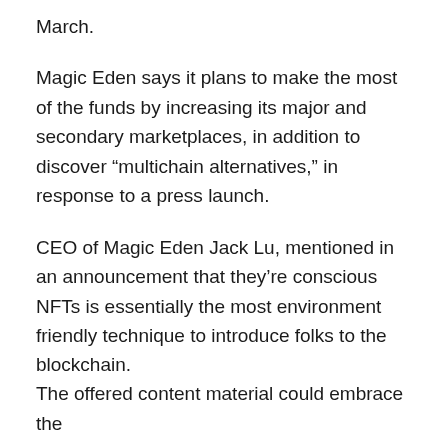March.
Magic Eden says it plans to make the most of the funds by increasing its major and secondary marketplaces, in addition to discover “multichain alternatives,” in response to a press launch.
CEO of Magic Eden Jack Lu, mentioned in an announcement that they’re conscious NFTs is essentially the most environment friendly technique to introduce folks to the blockchain.
The offered content material could embrace the